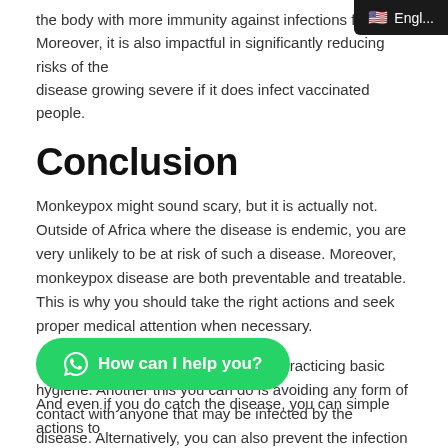the body with more immunity against infections from. Moreover, it is also impactful in significantly reducing risks of the disease growing severe if it does infect vaccinated people.
Conclusion
Monkeypox might sound scary, but it is actually not. Outside of Africa where the disease is endemic, you are very unlikely to be at risk of such a disease. Moreover, monkeypox disease are both preventable and treatable.  This is why you should take the right actions and seek proper medical attention when necessary.
You can avoid monkeypox by simply practicing basic hygiene. Another this you can do is avoiding any form of contact with anyone that may be infected by the disease. Alternatively, you can also prevent the infection by taking proper vaccinations.
[Figure (other): WhatsApp chat button with text 'How can I help you?']
And even if you do catch the disease, you can simple actions to